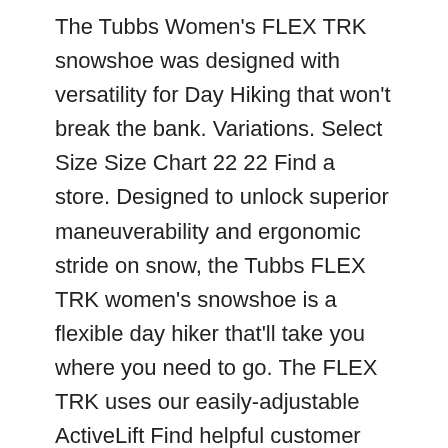The Tubbs Women's FLEX TRK snowshoe was designed with versatility for Day Hiking that won't break the bank. Variations. Select Size Size Chart 22 22 Find a store. Designed to unlock superior maneuverability and ergonomic stride on snow, the Tubbs FLEX TRK women's snowshoe is a flexible day hiker that'll take you where you need to go. The FLEX TRK uses our easily-adjustable ActiveLift Find helpful customer reviews and review ratings for Tubbs Flex RDG Snowshoe at Amazon.com. Read honest and unbiased product reviews from our users.
Mountaineer Snowshoes Men S Wilderness 25 Snowshoes Mountaineer 30 Snowshoes Wilderness 25 Snowshoes Women S Flex Alp 24 Snowshoes Flex Rdg Snowshoes Men S Mountaineer 36 Snowshoes Wayfinder Snowshoes Men S Adventure 25 Snowshoes Women S Flex Rdg Snowshoes Women S Sojourn 25 Snowshoes Women S Flex… Read